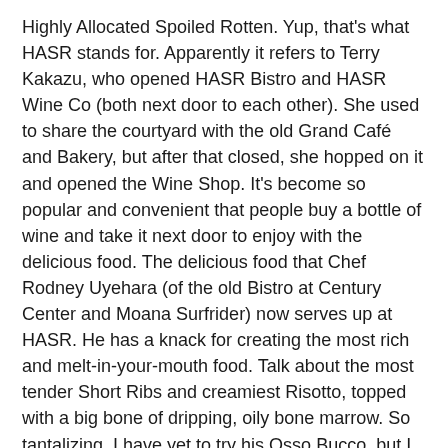Highly Allocated Spoiled Rotten. Yup, that's what HASR stands for. Apparently it refers to Terry Kakazu, who opened HASR Bistro and HASR Wine Co (both next door to each other). She used to share the courtyard with the old Grand Café and Bakery, but after that closed, she hopped on it and opened the Wine Shop. It's become so popular and convenient that people buy a bottle of wine and take it next door to enjoy with the delicious food. The delicious food that Chef Rodney Uyehara (of the old Bistro at Century Center and Moana Surfrider) now serves up at HASR. He has a knack for creating the most rich and melt-in-your-mouth food. Talk about the most tender Short Ribs and creamiest Risotto, topped with a big bone of dripping, oily bone marrow. So tantalizing. I have yet to try his Osso Bucco, but I hear that's a showstopper as well.
Did I mention the Escargot and Mushrooms? I've tried many restaurants' traditional way of making Escargot, served in hot ceramic escargot dishes with lots of butter, garlic, and shallots. However, HASR's is different and unique, and that's why it's become my favorite. Made with Pernod Garlic Sauce...